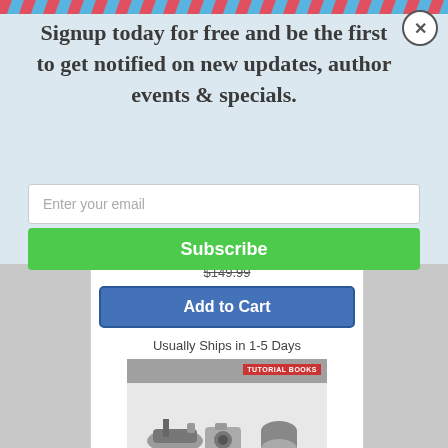[Figure (screenshot): Email signup modal overlay on a bookstore website. Modal has a diagonal red-and-blue striped top border, with headline text 'Signup today for free and be the first to get notified on new updates, author events & specials.' Below is an email input field and a green Subscribe button. Beneath the modal, a partially visible store page shows a strikethrough price, a blue 'Add to Cart' button, 'Usually Ships in 1-5 Days' text, and a book cover for a Tutorial Books Autodesk Fusion product.]